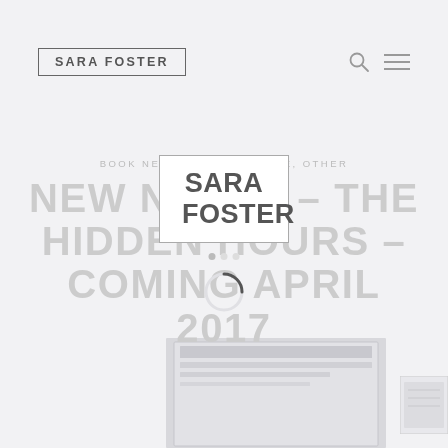SARA FOSTER
[Figure (logo): Sara Foster author logo — 'SARA FOSTER' in bold serif-style text inside a rectangular border, centered on page]
BOOK NEWS, MUSINGS, LIFE, OTHER
NEW NOVEL – THE HIDDEN HOURS – COMING APRIL 2017
[Figure (photo): Book cover partially visible at the bottom of the page — a grey/white book cover for The Hidden Hours by Sara Foster]